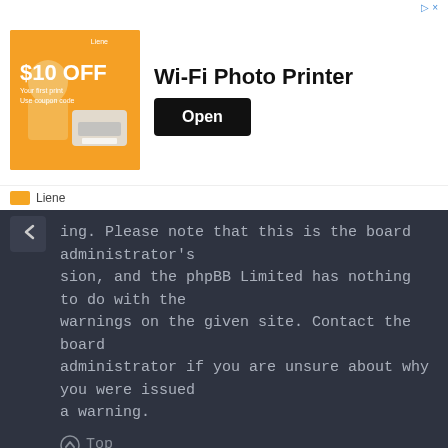[Figure (screenshot): Advertisement banner for Liene Wi-Fi Photo Printer with $10 OFF offer, showing an orange promotional image on the left, bold title 'Wi-Fi Photo Printer' in center, and a black 'Open' button on the right. Brand name 'Liene' shown at bottom of banner.]
ing. Please note that this is the board administrator's sion, and the phpBB Limited has nothing to do with the warnings on the given site. Contact the board administrator if you are unsure about why you were issued a warning.
Top
How can I report posts to a moderator?
If the board administrator has allowed it, you should see a button for reporting posts next to the post you wish to report. Clicking this will walk you through the steps necessary to report the post.
Top
What is the “Save” button for in topic posting?
This allows you to save drafts to be completed and